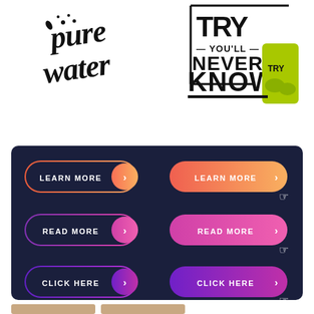[Figure (illustration): Script/handwritten style text reading 'pure water' with splash decorations in black on white background]
[Figure (illustration): Bold graphic text 'TRY YOU'LL NEVER KNOW' in black and lime green with decorative elements on white background]
[Figure (infographic): Dark navy panel showing 6 UI buttons in two columns: outline style (left) and filled style (right). Rows: LEARN MORE (red/orange gradient), READ MORE (pink/purple gradient), CLICK HERE (violet/purple gradient). Right column buttons have cursor hover icons.]
[Figure (illustration): Two tan/beige rounded rectangle strips at the bottom of the page]